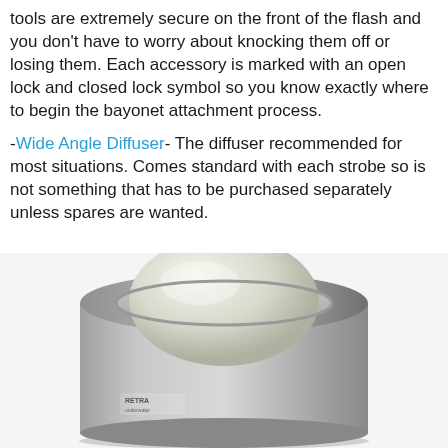tools are extremely secure on the front of the flash and you don't have to worry about knocking them off or losing them. Each accessory is marked with an open lock and closed lock symbol so you know exactly where to begin the bayonet attachment process.
-Wide Angle Diffuser- The diffuser recommended for most situations. Comes standard with each strobe so is not something that has to be purchased separately unless spares are wanted.
[Figure (photo): A wide angle diffuser accessory for a strobe flash unit, shown at an angle. The diffuser is cylindrical with a silvery/grey metallic outer casing and a frosted white domed lens. A small 'RETRA' logo is visible on the side.]